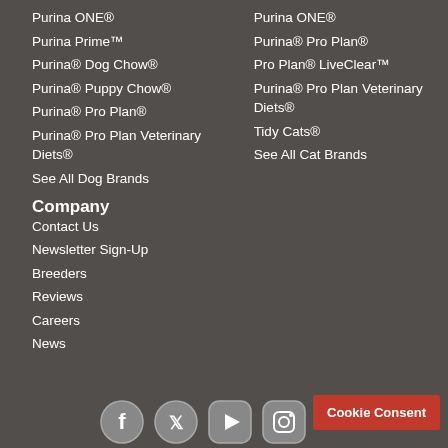Purina ONE®
Purina Prime™
Purina® Dog Chow®
Purina® Puppy Chow®
Purina® Pro Plan®
Purina® Pro Plan Veterinary Diets®
See All Dog Brands
Company
Contact Us
Newsletter Sign-Up
Breeders
Reviews
Careers
News
Purina ONE®
Purina® Pro Plan®
Pro Plan® LiveClear™
Purina® Pro Plan Veterinary Diets®
Tidy Cats®
See All Cat Brands
Cookie Consent